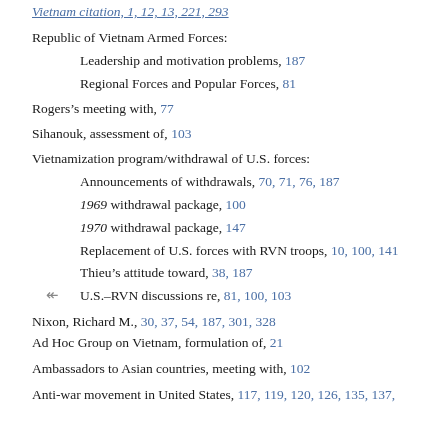Vietnam citation, 1, 12, 13, 221, 293 (partial, top)
Republic of Vietnam Armed Forces:
Leadership and motivation problems, 187
Regional Forces and Popular Forces, 81
Rogers's meeting with, 77
Sihanouk, assessment of, 103
Vietnamization program/withdrawal of U.S. forces:
Announcements of withdrawals, 70, 71, 76, 187
1969 withdrawal package, 100
1970 withdrawal package, 147
Replacement of U.S. forces with RVN troops, 10, 100, 141
Thieu’s attitude toward, 38, 187
U.S.–RVN discussions re, 81, 100, 103
Nixon, Richard M., 30, 37, 54, 187, 301, 328
Ad Hoc Group on Vietnam, formulation of, 21
Ambassadors to Asian countries, meeting with, 102
Anti-war movement in United States, 117, 119, 120, 126, 135, 137,